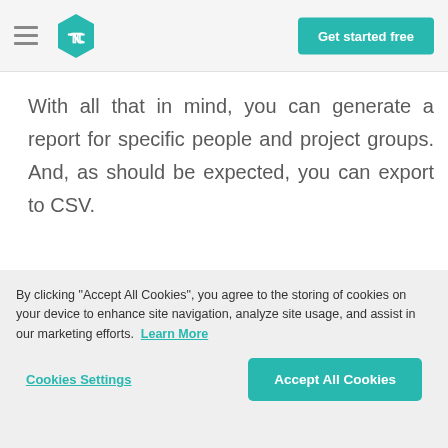[Figure (logo): Wrike logo hexagon teal icon with stylized W]
Get started free
With all that in mind, you can generate a report for specific people and project groups. And, as should be expected, you can export to CSV.
Award Winning Software
[Figure (illustration): Row of award badges including High Performer badges, a blue certified badge, an Editors Choice badge, and other award logos]
By clicking "Accept All Cookies", you agree to the storing of cookies on your device to enhance site navigation, analyze site usage, and assist in our marketing efforts.  Learn More
Cookies Settings
Accept All Cookies